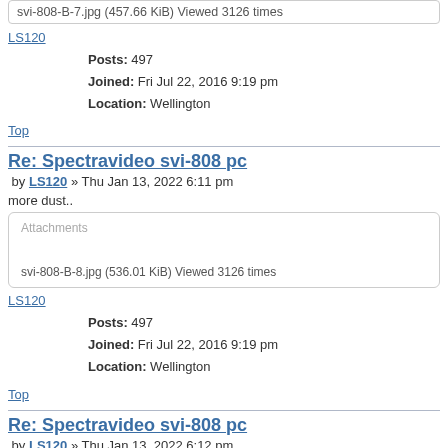svi-808-B-7.jpg (457.66 KiB) Viewed 3126 times
LS120
Posts: 497
Joined: Fri Jul 22, 2016 9:19 pm
Location: Wellington
Top
Re: Spectravideo svi-808 pc
by LS120 » Thu Jan 13, 2022 6:11 pm
more dust..
Attachments
svi-808-B-8.jpg (536.01 KiB) Viewed 3126 times
LS120
Posts: 497
Joined: Fri Jul 22, 2016 9:19 pm
Location: Wellington
Top
Re: Spectravideo svi-808 pc
by LS120 » Thu Jan 13, 2022 6:12 pm